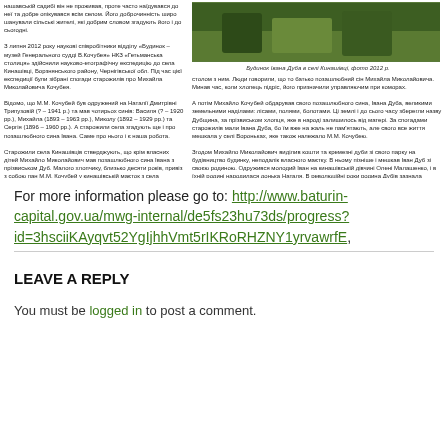[Figure (photo): Green/landscape photo at top right of page - outdoor scene]
Будинок Івана Дуба в селі Кинашівці, фото 2012 р.
нашавській садибі він не проживав, проте часто наїдувався до неї та добре опікувався всім селом. Його доброчинність широ шанували сільські жителі, які добрим словом згадують його і до сьогодні.

З липня 2012 року наукові співробітники відділу «Будинок – музей Генерального судді В.Кочубея» НКЗ «Гетьманська столиця» здійснили науково-етографічну експедицію до села Кинашівці, Борзнянського району, Чернігівської обл. Під час цієї експедиції були зібрані спогади старожилів про Михайла Миколайовича Кочубея.

Відомо, що М.М. Кочубей був одружений на Наталії Дмитрівні Трипузовій (? – 1941 р.) та мав чотирьох синів: Василя (? – 1920 рр.), Михайла (1893 – 1963 рр.), Миколу (1892 – 1929 рр.) та Сергія (1896 – 1960 рр.). А старожили села згадують ще і про позашлюбного сина Івана. Саме про нього і є наша робота.

Старожили села Кинашівців стверджують, що крім власних дітей Михайло Миколайович мав позашлюбного сина Івана з прізвиськом Дуб. Малого хлопчику, близько десяти років, привіз з собою пан М.М. Кочубей у кинашівській маєток з села Вороньки, що на Козелещині. Жив Іваньку у маєтку господаря, їв за одним столом з ним. Люди говорили, що то батько позашлюбний сін Михайла Миколайовича. Минав час, коли хлопець підріс, його призначили управляючим при коморах.

А потім Михайло Кочубей обдарував свого позашлюбного сина, Івана Дуба, великими земельними наділами: лісами, полями, болотами. Ці землі і до сього часу зберегли назву Дубщина, за прізвиськом хлопця, яке в народі залишилось від матері. За спогадами старожилів мали Івана Дуба, бо їм вже на жаль не пам'ятають, але свого все життя мешкала у селі Вороньках, яке також належало М.М. Кочубею.

Згодом Михайло Миколайович виділив кошти та кремезні дуби зі свого парку на будівництво будинку, неподалік власного маєтку. В ньому пізніше і мешкав Іван Дуб зі своєю родиною. Одружився молодий Іван на кинашівській дівчині Олені Малашенко, і в їхній родині народилася донька Наталя. В революційні роки родина Дубів зазнала розкуркулення, землі було відібрано разом з будинком. Не витримавши цієї трагедії Іван Дуб помер, а через кілька років померла і його дружина Олена. Залишившись сиротою Наталя виїхала до Києва, де здобула педагогічну освіту та стала вчителем німецької мови. Їх родинний будинок з 30 – х років ХХ ст. використовувався за різним призначенням: контора місцевого колгоспу, дитячий садок, шкільна їдальня, будинок для людей похилого віку, а на сьогоднішній день будинок знаходиться у запустінні.

Під час окупації села Кинашівки Наталя Дуб знову повернулася у рідне село, працювала у місцевих перекладачем. Проживала у своїй родинній оселі. Проте, за переказами старожилів, Наталя була таємним розвідником радянських військ. Це пояснює те, що після війни її не розстріляли. Як більшість тих, хто співпрацював з окупантами. Адже вона перейшлася до усіх сіл і неодноразово задягла і діяльності селу адаватось уникати чергових знущань німців. У Наталі була донька, яка трагічно загинула (атопілася в р. Дніпро). На цьому й закінчується рід Івана Дуба – позашлюбного сина Михайла Миколайовича Кочубея.
For more information please go to: http://www.baturin-capital.gov.ua/mwg-internal/de5fs23hu73ds/progress?id=3hsciiKAyqvt52YgIjhhVmt5rIKRoRHZNY1yrvawrfE,
LEAVE A REPLY
You must be logged in to post a comment.